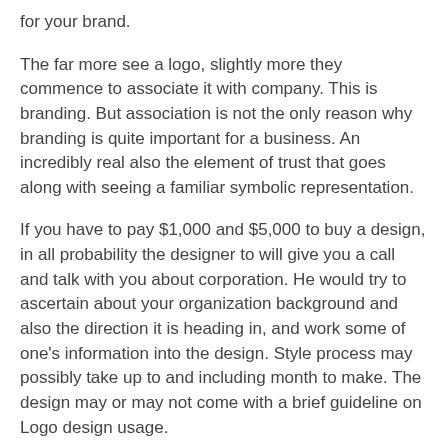for your brand.
The far more see a logo, slightly more they commence to associate it with company. This is branding. But association is not the only reason why branding is quite important for a business. An incredibly real also the element of trust that goes along with seeing a familiar symbolic representation.
If you have to pay $1,000 and $5,000 to buy a design, in all probability the designer to will give you a call and talk with you about corporation. He would try to ascertain about your organization background and also the direction it is heading in, and work some of one's information into the design. Style process may possibly take up to and including month to make. The design may or may not come with a brief guideline on Logo design usage.